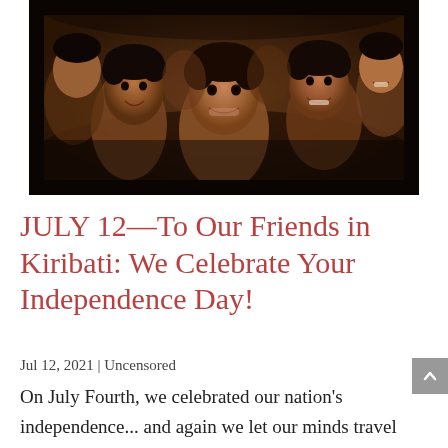[Figure (photo): Close-up photograph of a group of children, appearing to be from Kiribati or a Pacific Island nation, some smiling and looking directly at the camera, dark-toned photo]
JULY 12—To Our Friends in Kiribati: We Celebrate Your Independence Day!
Jul 12, 2021 | Uncensored
On July Fourth, we celebrated our nation's independence... and again we let our minds travel back to that day